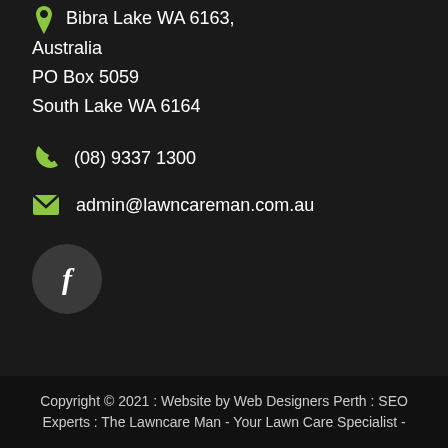Bibra Lake WA 6163,
Australia
PO Box 5059
South Lake WA 6164
(08) 9337 1300
admin@lawncareman.com.au
[Figure (logo): Facebook icon button — dark circular button with white letter f]
Copyright © 2021 : Website by Web Designers Perth : SEO Experts : The Lawncare Man - Your Lawn Care Specialist -